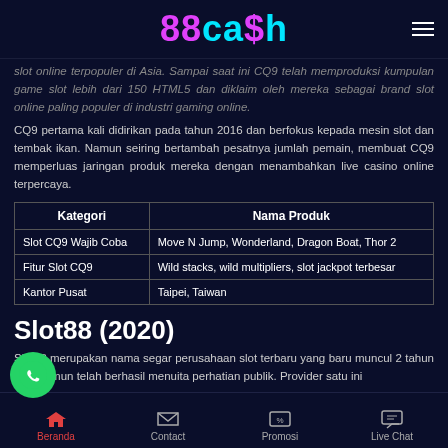88cash
slot online terpopuler di Asia. Sampai saat ini CQ9 telah memproduksi kumpulan game slot lebih dari 150 HTML5 dan diklaim oleh mereka sebagai brand slot online paling populer di industri gaming online.
CQ9 pertama kali didirikan pada tahun 2016 dan berfokus kepada mesin slot dan tembak ikan. Namun seiring bertambah pesatnya jumlah pemain, membuat CQ9 memperluas jaringan produk mereka dengan menambahkan live casino online terpercaya.
| Kategori | Nama Produk |
| --- | --- |
| Slot CQ9 Wajib Coba | Move N Jump, Wonderland, Dragon Boat, Thor 2 |
| Fitur Slot CQ9 | Wild stacks, wild multipliers, slot jackpot terbesar |
| Kantor Pusat | Taipei, Taiwan |
Slot88 (2020)
Slot88 merupakan nama segar perusahaan slot terbaru yang baru muncul 2 tahun lalu, namun telah berhasil menuita perhatian publik. Provider satu ini
Beranda  Contact  Promosi  Live Chat